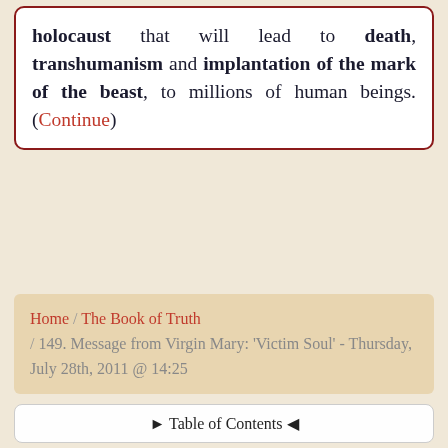holocaust that will lead to death, transhumanism and implantation of the mark of the beast, to millions of human beings. (Continue)
Home / The Book of Truth / 149. Message from Virgin Mary: 'Victim Soul' - Thursday, July 28th, 2011 @ 14:25
▶ Table of Contents ◀
Monday, July 25th, 2011 @ 21:00 148. Call to Priests and Nuns in the Roman Catholic Church
Thursday, July 28th, 2011 @ 15:30 150. Pray for the Souls of Those Facing Damnation, who Will Not Survive the Warning